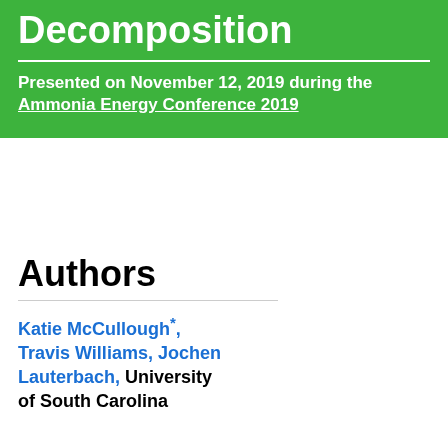Decomposition
Presented on November 12, 2019 during the Ammonia Energy Conference 2019
Authors
Katie McCullough*, Travis Williams, Jochen Lauterbach, University of South Carolina